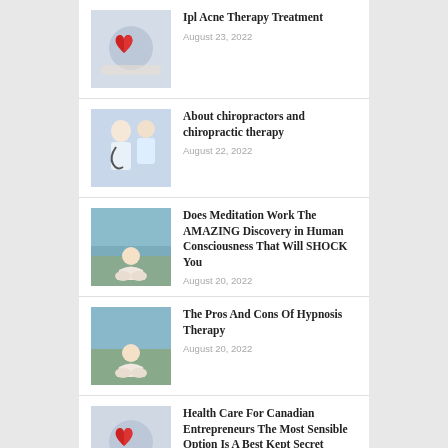Ipl Acne Therapy Treatment
August 23, 2022
About chiropractors and chiropractic therapy
August 22, 2022
Does Meditation Work The AMAZING Discovery in Human Consciousness That Will SHOCK You
August 20, 2022
The Pros And Cons Of Hypnosis Therapy
August 20, 2022
Health Care For Canadian Entrepreneurs The Most Sensible Option Is A Best Kept Secret
August 19, 2022